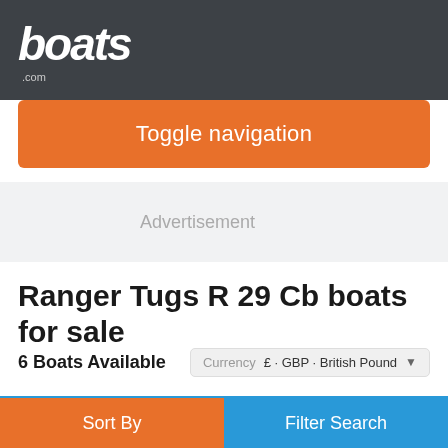boats.com
Toggle navigation
Advertisement
Ranger Tugs R 29 Cb boats for sale
6 Boats Available    Currency  £ - GBP - British Pound
New Arrival  28
[Figure (photo): Boat masts against blue sky]
Sort By    Filter Search